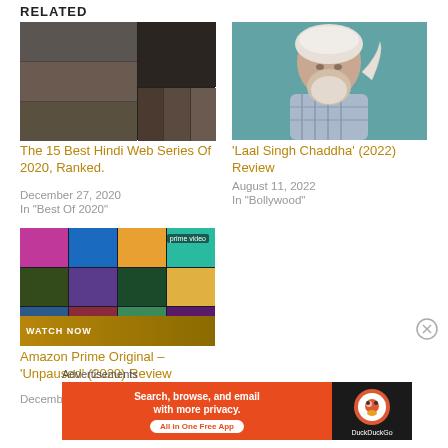RELATED
[Figure (photo): Collage of Hindi web series actors]
The 15 Best Hindi Web Series Of 2020, Ranked.
December 27, 2020
In "Best Of 2020"
[Figure (photo): Man with white beard and turban in plaid shirt looking out window - Laal Singh Chaddha]
‘Laal Singh Chaddha’ (2022) Review
August 11, 2022
In "Bollywood"
[Figure (photo): Amazon Prime Video Unpaused promotional grid with Watch Now overlay]
Amazon Prime Original – ‘Unpaused’ (2020) Review
December 25, 2020
Advertisements
[Figure (screenshot): DuckDuckGo advertisement banner: Search, browse, and email with more privacy. All in One Free App]